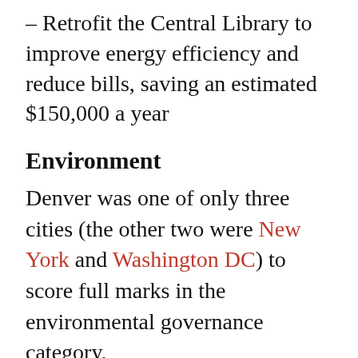– Retrofit the Central Library to improve energy efficiency and reduce bills, saving an estimated $150,000 a year
Environment
Denver was one of only three cities (the other two were New York and Washington DC) to score full marks in the environmental governance category.
The key to this success could be Denver's “Green Teams” – groups of green-minded friends, families and neighbors who are interested in learning about energy efficiency and other green initiatives, and who seek to expand community